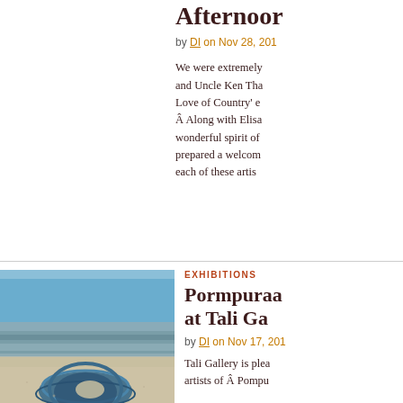Afternoon
by DI on Nov 28, 201
We were extremely and Uncle Ken Tha Love of Country' e Â Along with Elisa wonderful spirit of prepared a welcom each of these artis
EXHIBITIONS
Pormpuraa at Tali Ga
by DI on Nov 17, 201
[Figure (photo): Beach scene with blue woven object on sand, sea and sky visible]
Tali Gallery is plea artists of Â Pompu